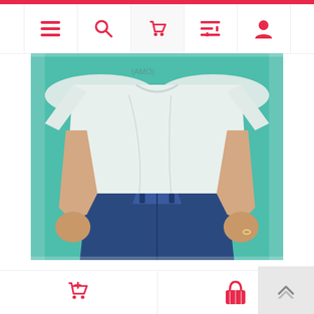[Figure (screenshot): E-commerce mobile app navigation bar with hamburger menu, search, cart, filter, and profile icons in red/coral color]
[Figure (photo): Man wearing a white half sleeve t-shirt and blue jeans against a teal background, cropped to show torso and arms]
Ma Half Sleeve T-shirt for Men – FT2_4
Tk 159.00  Tk 200.00